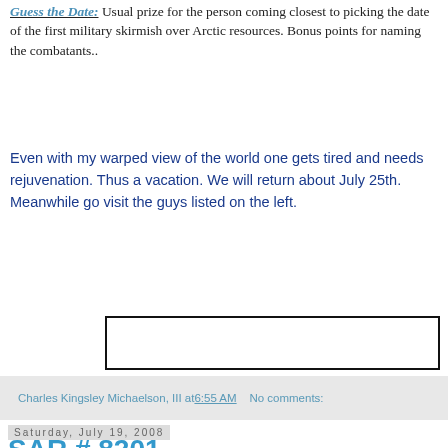Guess the Date: Usual prize for the person coming closest to picking the date of the first military skirmish over Arctic resources. Bonus points for naming the combatants..
Even with my warped view of the world one gets tired and needs rejuvenation. Thus a vacation. We will return about July 25th. Meanwhile go visit the guys listed on the left.
[Figure (other): Empty white rectangle with black border]
Charles Kingsley Michaelson, III at 6:55 AM    No comments:
Saturday, July 19, 2008
SAR # 8201
As a species our main talents are lying and killing.
- Ilargi
Gone Fishing: Oxygen-starved dead zones have increased 30% in